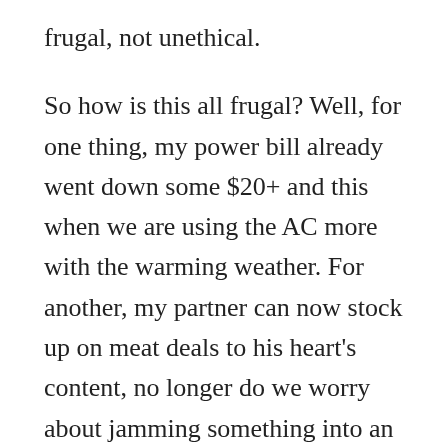frugal, not unethical.
So how is this all frugal? Well, for one thing, my power bill already went down some $20+ and this when we are using the AC more with the warming weather. For another, my partner can now stock up on meat deals to his heart’s content, no longer do we worry about jamming something into an already crowded, inefficient freezer.
I also can now leverage the extra space Gigantor offers. My daughter gave me three, yes, large THREE bags of apples that someone had gifted her and she could not use before they were going to go bad. I quickly set to work